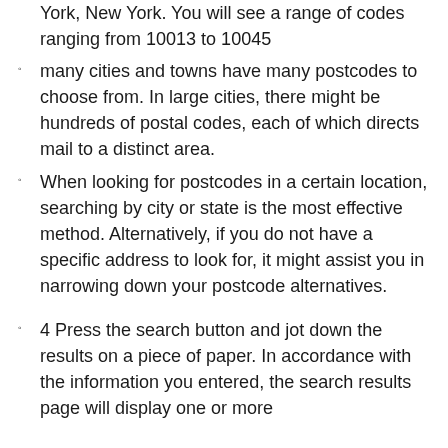York, New York. You will see a range of codes ranging from 10013 to 10045
many cities and towns have many postcodes to choose from. In large cities, there might be hundreds of postal codes, each of which directs mail to a distinct area.
When looking for postcodes in a certain location, searching by city or state is the most effective method. Alternatively, if you do not have a specific address to look for, it might assist you in narrowing down your postcode alternatives.
4 Press the search button and jot down the results on a piece of paper. In accordance with the information you entered, the search results page will display one or more